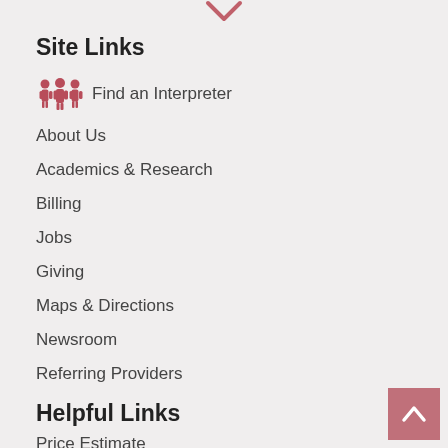Site Links
Find an Interpreter
About Us
Academics & Research
Billing
Jobs
Giving
Maps & Directions
Newsroom
Referring Providers
Helpful Links
Price Estimate
Patient Rights & Responsibilities
Disclaimer